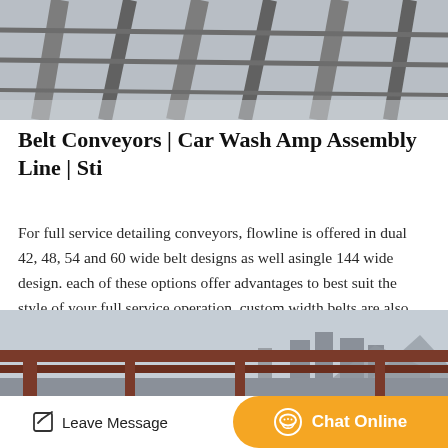[Figure (photo): Aerial view of conveyor belt tracks/rails from above, industrial setting]
Belt Conveyors | Car Wash Amp Assembly Line | Sti
For full service detailing conveyors, flowline is offered in dual 42, 48, 54 and 60 wide belt designs as well asingle 144 wide design. each of these options offer advantages to best suit the style of your full service operation. custom width belts are also available to.
[Figure (photo): Industrial steel structure / conveyor frame outdoors with city skyline in background]
Leave Message  Chat Online